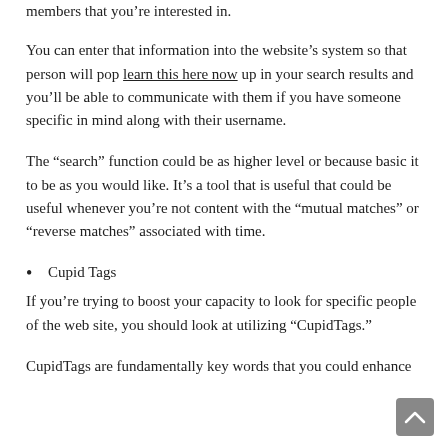members that youвЂ™re interested in.
You can enter that information into the websiteвЂ™s system so that person will pop learn this here now up in your search results and youвЂ™ll be able to communicate with them if you have someone specific in mind along with their username.
The вЂœsearchвЂ™ function could be as higher level or because basic it to be as you would like. ItвЂ™s a tool that is useful that could be useful whenever youвЂ™re not content with the вЂœmutual matchesвЂ™ or вЂœreverse matchesвЂ™ associated with time.
Cupid Tags
If youвЂ™re trying to boost your capacity to look for specific people of the web site, you should look at utilizing вЂœCupidTags.вЂ™
CupidTags are fundamentally key words that you could enhance